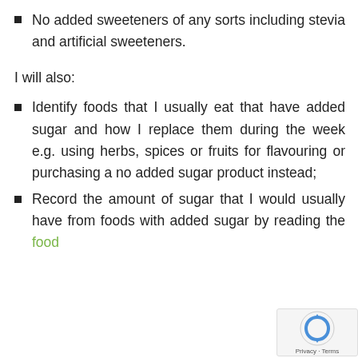No added sweeteners of any sorts including stevia and artificial sweeteners.
I will also:
Identify foods that I usually eat that have added sugar and how I replace them during the week e.g. using herbs, spices or fruits for flavouring or purchasing a no added sugar product instead;
Record the amount of sugar that I would usually have from foods with added sugar by reading the food